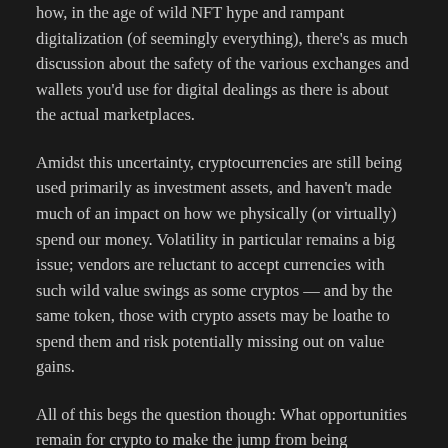how, in the age of wild NFT hype and rampant digitalization (of seemingly everything), there's as much discussion about the safety of the various exchanges and wallets you'd use for digital dealings as there is about the actual marketplaces.
Amidst this uncertainty, cryptocurrencies are still being used primarily as investment assets, and haven't made much of an impact on how we physically (or virtually) spend our money. Volatility in particular remains a big issue; vendors are reluctant to accept currencies with such wild value swings as some cryptos — and by the same token, those with crypto assets may be loathe to spend them and risk potentially missing out on value gains.
All of this begs the question though: What opportunities remain for crypto to make the jump from being something to have into something to use? A few options with legitimate potential come to mind